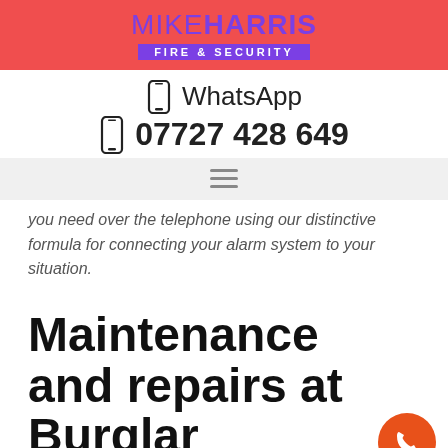MIKE HARRIS FIRE & SECURITY
WhatsApp  07727 428 649
you need over the telephone using our distinctive formula for connecting your alarm system to your situation.
Maintenance and repairs at Burglar